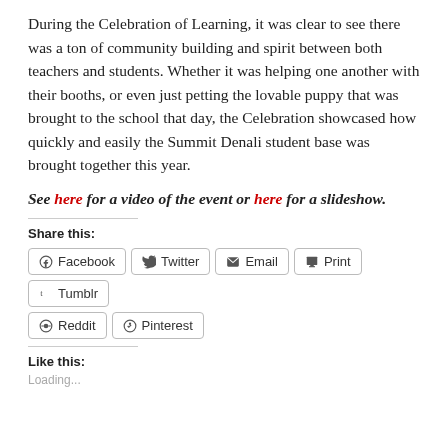During the Celebration of Learning, it was clear to see there was a ton of community building and spirit between both teachers and students. Whether it was helping one another with their booths, or even just petting the lovable puppy that was brought to the school that day, the Celebration showcased how quickly and easily the Summit Denali student base was brought together this year.
See here for a video of the event or here for a slideshow.
Share this:
Facebook
Twitter
Email
Print
Tumblr
Reddit
Pinterest
Like this:
Loading...